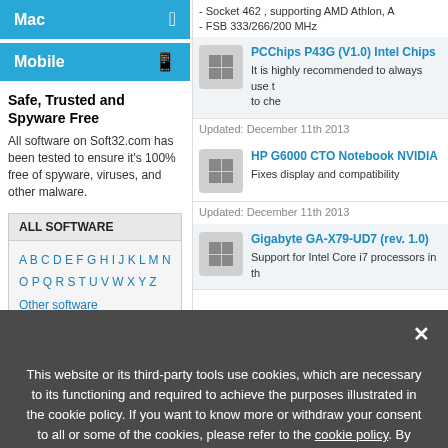Mac
Mobile
Safe, Trusted and Spyware Free
All software on Soft32.com has been tested to ensure it's 100% free of spyware, viruses, and other malware.
ALL SOFTWARE
A B C D E F G H I J K L M N O P Q R S T U V W X Y Z Other software
- Socket 462 , supporting AMD Athlon, A - FSB 333/266/200 MHz
PCChips P43G (V1.0) Intel Chips
It is highly recommended to always use t to che
Updated: December 11th 2013
HP G6000 CTO Notebook NVIDIA
Fixes display and compatibility
Updated: December 11th 2013
Gigabyte GA-X79-UD7 (rev. 1.0)
Support for Intel Core i7 processors in th
This website or its third-party tools use cookies, which are necessary to its functioning and required to achieve the purposes illustrated in the cookie policy. If you want to know more or withdraw your consent to all or some of the cookies, please refer to the cookie policy. By closing this banner, clicking a link or continuing to browse otherwise, you agree to the use of cookies.